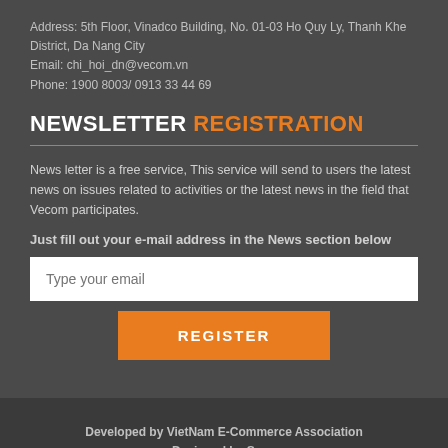Address: 5th Floor, Vinadco Building, No. 01-03 Ho Quy Ly, Thanh Khe District, Da Nang City
Email: chi_hoi_dn@vecom.vn
Phone: 1900 8003/ 0913 33 44 69
NEWSLETTER REGISTRATION
News letter is a free service, This service will send to users the latest news on issues related to activities or the latest news in the field that Vecom participates.
Just fill out your e-mail address in the News section below
Type your email
REGISTER
Developed by VietNam E-Commerce Association
Designed by Sapo
Copyright © 2015 VECOM. All Rights Reserved